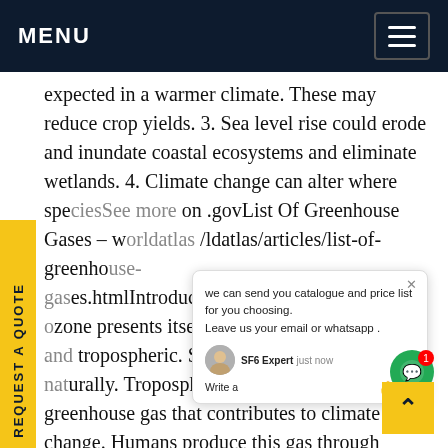MENU
expected in a warmer climate. These may reduce crop yields. 3. Sea level rise could erode and inundate coastal ecosystems and eliminate wetlands. 4. Climate change can alter where species live on .govList Of Greenhouse Gases - worldatlas/articles/list-of-greenhouse-gases.htmlIntroductionSafetyUsesProfessional ozone presents itself in two forms, stratospheric and tropospheric. Stratospheric ozone occurs naturally. Tropospheric ozone, however, is a greenhouse gas that contributes to climate change. Humans produce this gas through industrial plants, chemical events, and burning fossil fuels. Prior to industrialization, tropospheric ozone was concentrated at 25 parts per billion in the atmosphere. Today, it is at aSee more on